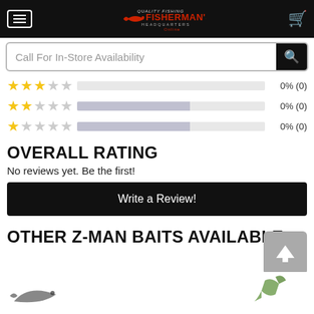[Figure (screenshot): Fisherman's HQ online store header with hamburger menu, logo, and cart icon on black background]
[Figure (other): Search bar with placeholder text 'Call For In-Store Availability' and search button]
[Figure (bar-chart): Star rating bars: 3-star 0%(0), 2-star 0%(0), 1-star 0%(0)]
OVERALL RATING
No reviews yet. Be the first!
Write a Review!
OTHER Z-MAN BAITS AVAILABLE
[Figure (photo): Fish/bait product images at bottom of page (partially visible)]